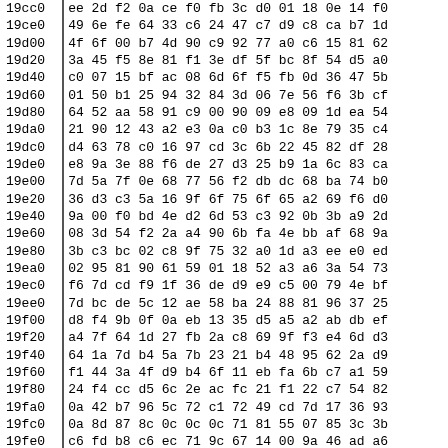| address | data |
| --- | --- |
| 19cc0 | ee 2d f2 0a ce f0 fb 3c d0 01 18 0e 14 f0 |
| 19ce0 | 49 6e fe 64 33 c6 24 47 c7 d9 c8 ca b7 1d |
| 19d00 | 4f 6f 00 b7 4d 90 c9 92 77 a0 c6 15 81 62 |
| 19d20 | 3a 45 f5 8e 81 f1 3e df 5f bc 8f 54 d5 a0 |
| 19d40 | c0 07 15 bf ac 08 6d 6f f5 fb 0d 36 47 5b |
| 19d60 | 01 50 b1 25 94 32 84 3d 06 7e 56 f6 3b cf |
| 19d80 | 64 52 aa 58 91 c9 00 90 09 e8 09 1d ea 54 |
| 19da0 | 21 90 12 43 a2 e3 0a c0 b3 1c 8e 79 35 c4 |
| 19dc0 | d4 63 78 c0 16 97 cd 3c 6b 22 45 82 df 28 |
| 19de0 | e8 9a 3e 88 f6 de 27 d3 25 b9 1a 6c 83 ca |
| 19e00 | 7d 5a 7f 0e 68 77 56 f2 db dc 68 ba 74 b0 |
| 19e20 | 36 d3 c3 5a 16 9f 6f 75 6f 65 a2 69 f6 d0 |
| 19e40 | 9a 00 f0 bd 4e d2 6d 53 c3 92 0b 3b a9 2d |
| 19e60 | 08 3d 54 f2 2a a4 90 6b fa 4e bb af 68 9a |
| 19e80 | 3b c3 bc 02 c8 9f 75 32 a0 1d a3 ee e0 ed |
| 19ea0 | 02 95 81 90 61 59 01 18 52 a3 a6 3a 54 73 |
| 19ec0 | f6 7d cd f9 1f 36 de d9 e9 c5 00 79 4e bf |
| 19ee0 | 7d bc de 5c 12 ae 58 ba 24 88 81 96 37 25 |
| 19f00 | d8 f4 9b 0f 0a eb 13 35 d5 a5 a2 ab db ef |
| 19f20 | a4 7f 64 1d 27 fb 2a c8 69 9f f3 e4 6d d3 |
| 19f40 | 64 1a 7d b4 5a 7b 23 21 b4 48 95 62 2a d9 |
| 19f60 | f1 44 3a 4f d9 b4 6f 11 eb fa 6b c7 a1 59 |
| 19f80 | 24 f4 cc d5 6c 2e ac fc 21 f1 22 c7 54 82 |
| 19fa0 | 0a 42 b7 96 5c 72 c1 72 49 cd 7d 17 36 93 |
| 19fc0 | 0a 8d 87 8c 0c 0c 0c 71 81 55 07 85 3c 3b |
| 19fe0 | c6 fd b8 c6 ec 71 9c 67 14 00 9a 46 ad a6 |
| 1a000 | b1 44 51 ec aa 0f 03 00 15 1e a0 72 ff 00 |
| 1a020 | cd 45 25 7d 0e d6 61 91 d8 9a ec 74 ad 0b |
| 1a040 | c6 76 81 9c 64 fe 75 2e a7 a4 e9 da c5 b2 |
| 1a060 | 19 c1 23 3e f4 01 e4 1e 21 f0 ee a3 e1 ab |
| 1a080 | 5b 31 3b 85 08 08 0 0 18 09 d9 1 0 58 |